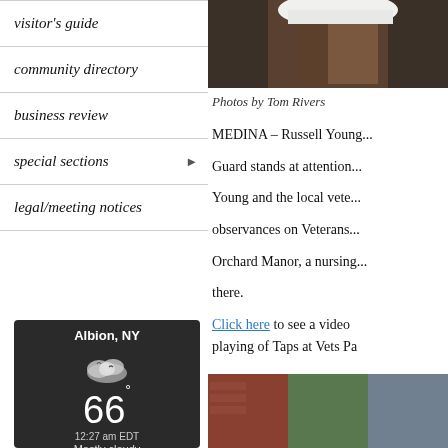visitor's guide
community directory
business review
special sections ▶
legal/meeting notices
[Figure (photo): Weather widget showing Albion, NY, 66 degrees, 12:27 am EDT, Mostly cloudy]
[Figure (photo): Close-up photo of a person wearing a white cap, top portion visible]
Photos by Tom Rivers
MEDINA – Russell Young... Guard stands at attention... Young and the local veterans... observances on Veterans... Orchard Manor, a nursing... there.
Click here to see a video playing of Taps at Vets Pa
[Figure (photo): Bottom partial photo showing brick/green wall]